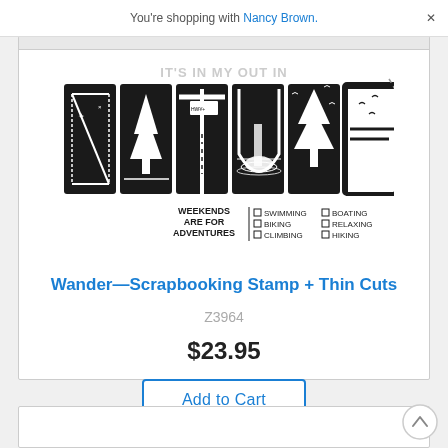You're shopping with Nancy Brown.
[Figure (illustration): Decorative nature-themed scrapbooking stamp design featuring large bold text 'IT'S IN MY OUT IN' at top and stylized letters spelling 'NATURE' with illustrations inside each letter (N=dashed lines, A=pine tree, T=road with arrow sign, U=waterfall/landscape, R=pine tree, E=rectangular border with birds). Below the letters: 'WEEKENDS ARE FOR ADVENTURES' with checkbox lists: SWIMMING, BIKING, CLIMBING, BOATING, RELAXING, HIKING. Right side has a dashed curved line with an X mark.]
Wander—Scrapbooking Stamp + Thin Cuts
Z3964
$23.95
Add to Cart